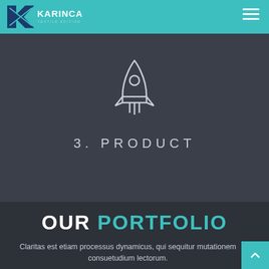KARINCA TEXTILE EDITION
[Figure (illustration): Rocket ship outline icon in white/light gray]
3. PRODUCT
OUR PORTFOLIO
Claritas est etiam processus dynamicus, qui sequitur mutationem consuetudium lectorum.